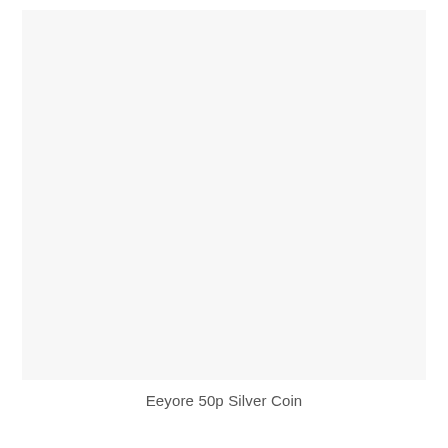[Figure (photo): A mostly blank light gray/white rectangular image area representing an Eeyore 50p Silver Coin product photo placeholder.]
Eeyore 50p Silver Coin